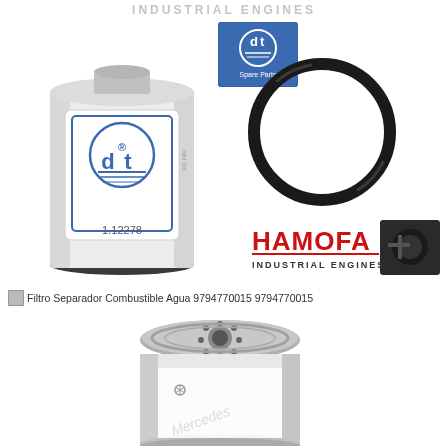INDUSTRIAL ENGINES
[Figure (photo): DT Spare Parts fuel filter/water separator with part number 1.12278, white cylindrical filter with DT logo and blue label, shown alongside DT Spare Parts logo box]
[Figure (photo): Black rubber O-ring/seal ring shown against white background]
[Figure (logo): HAMOFA Industrial Engines logo with red text and industrial engine imagery]
Filtro Separador Combustible Agua 9794770015 9794770015
[Figure (photo): Fuel filter/water separator viewed from top/side angle showing metallic top cap with holes and cylindrical body with Mercedes branding watermark]